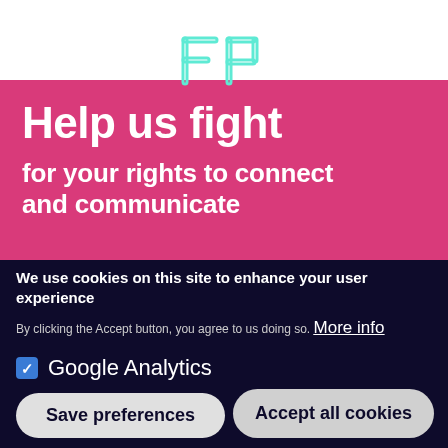[Figure (logo): FP logo in teal/cyan outline on white and pink background, two stylized letters F and P]
Help us fight for your rights to connect and communicate
We use cookies on this site to enhance your user experience
By clicking the Accept button, you agree to us doing so. More info
Google Analytics
Save preferences
Accept all cookies